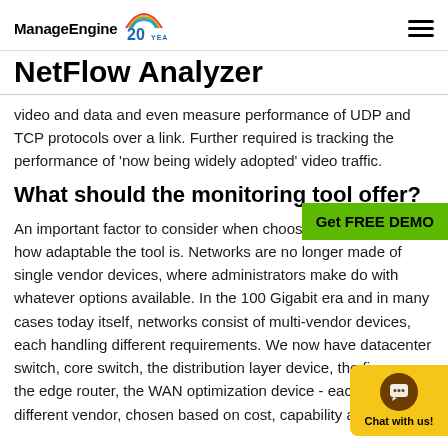ManageEngine NetFlow Analyzer
video and data and even measure performance of UDP and TCP protocols over a link. Further required is tracking the performance of 'now being widely adopted' video traffic.
What should the monitoring tool offer?
An important factor to consider when choosing [a monitoring tool] is how adaptable the tool is. Networks are no longer made of single vendor devices, where administrators make do with whatever options available. In the 100 Gigabit era and in many cases today itself, networks consist of multi-vendor devices, each handling different requirements. We now have datacenter switch, core switch, the distribution layer device, the [firewall,] the edge router, the WAN optimization device - each fr[om a] different vendor, chosen based on cost, capability and [most o...]